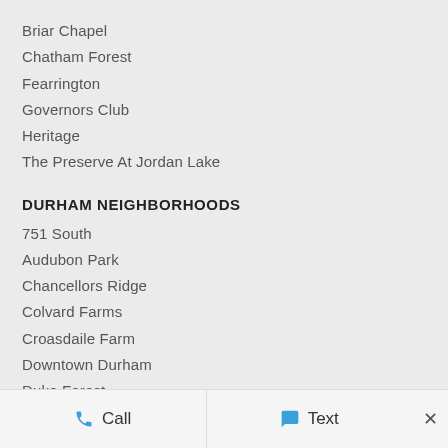Briar Chapel
Chatham Forest
Fearrington
Governors Club
Heritage
The Preserve At Jordan Lake
DURHAM NEIGHBORHOODS
751 South
Audubon Park
Chancellors Ridge
Colvard Farms
Croasdaile Farm
Downtown Durham
Duke Forest
Hope Valley
Hope Valley Farms
Trinity Park
Call   Text   ×